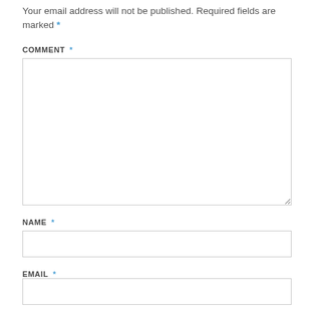Your email address will not be published. Required fields are marked *
COMMENT *
[Figure (other): Large empty comment text area input box]
NAME *
[Figure (other): Single-line name text input box]
EMAIL *
[Figure (other): Single-line email text input box (partially visible)]